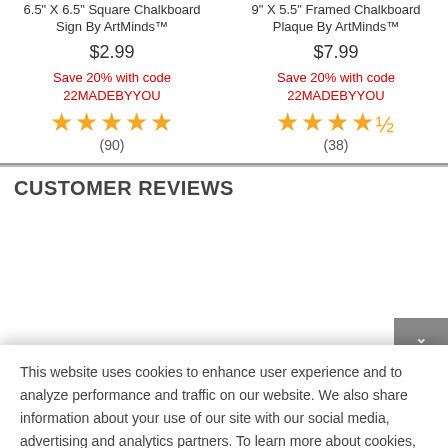6.5" X 6.5" Square Chalkboard Sign By ArtMinds™
$2.99
Save 20% with code 22MADEBYYOU
★★★★★ (90)
9" X 5.5" Framed Chalkboard Plaque By ArtMinds™
$7.99
Save 20% with code 22MADEBYYOU
★★★★½ (38)
CUSTOMER REVIEWS
This website uses cookies to enhance user experience and to analyze performance and traffic on our website. We also share information about your use of our site with our social media, advertising and analytics partners. To learn more about cookies, including how to disable them, click on Cookie Preferences.
Cookie Preferences
Got It
4★  8
3★  6